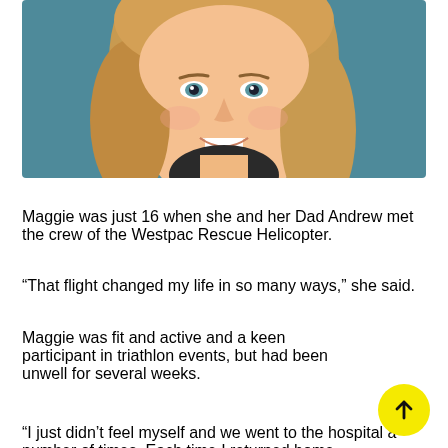[Figure (photo): Headshot of a young woman with blonde hair and blue eyes, smiling, wearing a black top, against a teal/dark blue background.]
Maggie was just 16 when she and her Dad Andrew met the crew of the Westpac Rescue Helicopter.
“That flight changed my life in so many ways,” she said.
Maggie was fit and active and a keen participant in triathlon events, but had been unwell for several weeks.
“I just didn’t feel myself and we went to the hospital a number of times. Each time I returned home…